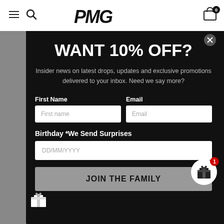PMG (logo)
WANT 10% OFF?
Insider news on latest drops, updates and exclusive promotions delivered to your inbox. Need we say more?
First Name
Email
Birthday *We Send Surprises
JOIN THE FAMILY